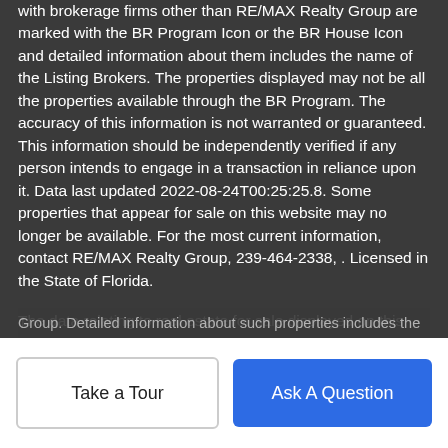with brokerage firms other than RE/MAX Realty Group are marked with the BR Program Icon or the BR House Icon and detailed information about them includes the name of the Listing Brokers. The properties displayed may not be all the properties available through the BR Program. The accuracy of this information is not warranted or guaranteed. This information should be independently verified if any person intends to engage in a transaction in reliance upon it. Data last updated 2022-08-24T00:25:25.8. Some properties that appear for sale on this website may no longer be available. For the most current information, contact RE/MAX Realty Group, 239-464-2338, . Licensed in the State of Florida.
The data relating to real estate for sale displayed on this Website comes in part from the Multiple Listing Service of the Bonita Springs-Estero Association of REALTORS®, Inc., under License No. 3035763. Properties displayed on this Website include properties listed with brokerage firms other than RE/MAX Realty Group. Detailed information about such properties includes the...
Group. Detailed information about such properties includes the...
Take a Tour
Ask A Question